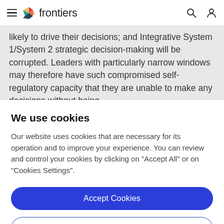frontiers
likely to drive their decisions; and Integrative System 1/System 2 strategic decision-making will be corrupted. Leaders with particularly narrow windows may therefore have such compromised self-regulatory capacity that they are unable to make any decisions without being
We use cookies
Our website uses cookies that are necessary for its operation and to improve your experience. You can review and control your cookies by clicking on "Accept All" or on "Cookies Settings".
Accept Cookies
Cookies Settings